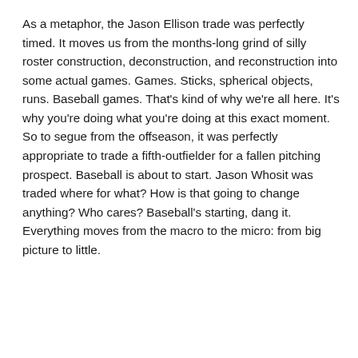As a metaphor, the Jason Ellison trade was perfectly timed. It moves us from the months-long grind of silly roster construction, deconstruction, and reconstruction into some actual games. Games. Sticks, spherical objects, runs. Baseball games. That's kind of why we're all here. It's why you're doing what you're doing at this exact moment. So to segue from the offseason, it was perfectly appropriate to trade a fifth-outfielder for a fallen pitching prospect. Baseball is about to start. Jason Whosit was traded where for what? How is that going to change anything? Who cares? Baseball's starting, dang it. Everything moves from the macro to the micro: from big picture to little.